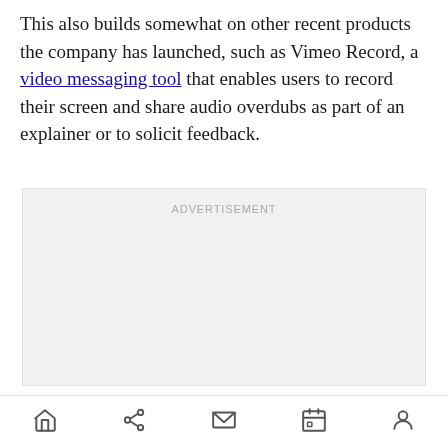This also builds somewhat on other recent products the company has launched, such as Vimeo Record, a video messaging tool that enables users to record their screen and share audio overdubs as part of an explainer or to solicit feedback.
[Figure (other): Advertisement placeholder box with light gray background and the label ADVERTISEMENT in small gray uppercase letters at the top center.]
Navigation bar with icons: home, share, mail, calendar, profile